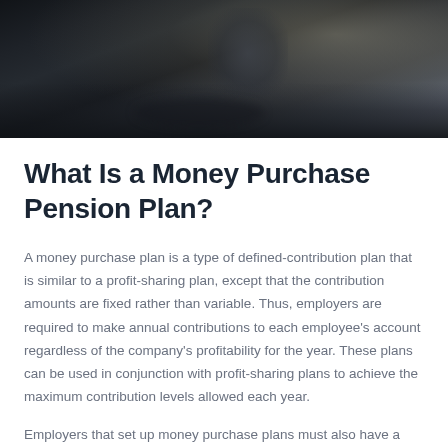[Figure (photo): Dark professional photo of a person at a desk/table, likely in a business setting with a window in the background. The reflection of the person is visible on the shiny table surface.]
What Is a Money Purchase Pension Plan?
A money purchase plan is a type of defined-contribution plan that is similar to a profit-sharing plan, except that the contribution amounts are fixed rather than variable. Thus, employers are required to make annual contributions to each employee's account regardless of the company's profitability for the year. These plans can be used in conjunction with profit-sharing plans to achieve the maximum contribution levels allowed each year.
Employers that set up money purchase plans must also have a contribution level based on the...